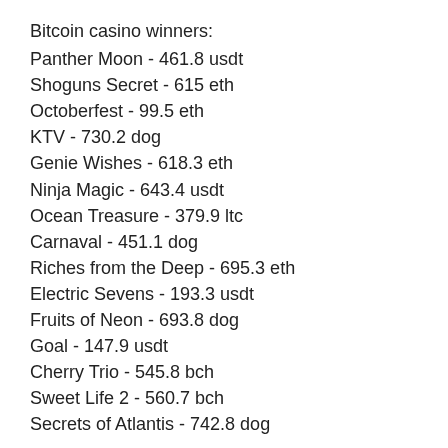Bitcoin casino winners:
Panther Moon - 461.8 usdt
Shoguns Secret - 615 eth
Octoberfest - 99.5 eth
KTV - 730.2 dog
Genie Wishes - 618.3 eth
Ninja Magic - 643.4 usdt
Ocean Treasure - 379.9 ltc
Carnaval - 451.1 dog
Riches from the Deep - 695.3 eth
Electric Sevens - 193.3 usdt
Fruits of Neon - 693.8 dog
Goal - 147.9 usdt
Cherry Trio - 545.8 bch
Sweet Life 2 - 560.7 bch
Secrets of Atlantis - 742.8 dog
Popular Table Games:
mBit Casino Lucky Clover
BitcoinCasino.us Alice Adventure